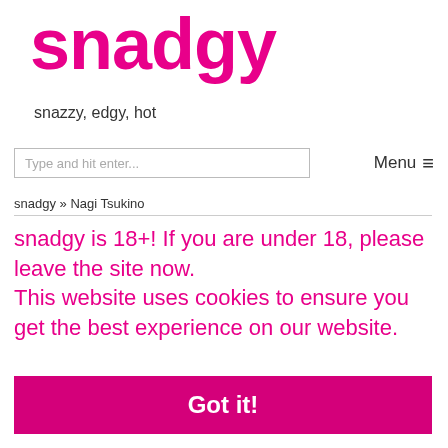snadgy
snazzy, edgy, hot
Type and hit enter...
Menu ≡
snadgy » Nagi Tsukino
snadgy is 18+! If you are under 18, please leave the site now.
This website uses cookies to ensure you get the best experience on our website.
Got it!